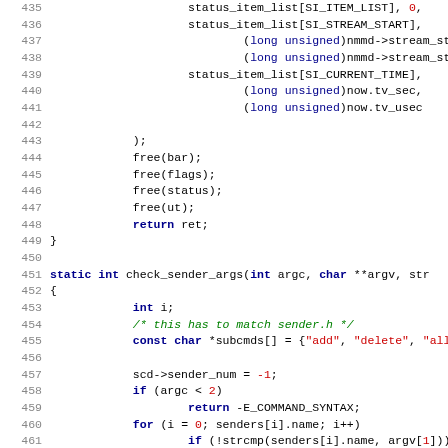[Figure (screenshot): Source code listing in C, lines 435-467, showing status_item_list, free(), return, static int check_sender_args function definition, and a for loop with strcmp and PARA_DEBUG_LOG calls.]